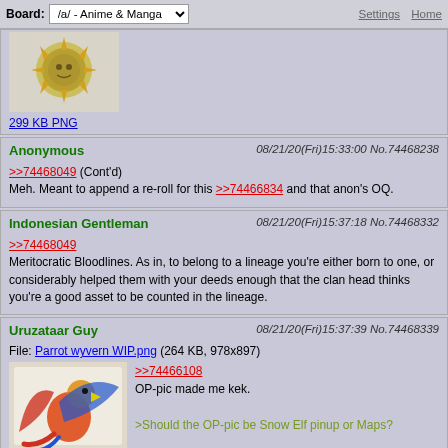Board: /a/ - Anime & Manga  Settings  Home
[Figure (illustration): Partial sun/medallion illustration, 299 KB PNG]
Anonymous 08/21/20(Fri)15:33:00 No.74468238 >>74468049 (Cont'd) Meh. Meant to append a re-roll for this >>74466834 and that anon's OQ.
Indonesian Gentleman 08/21/20(Fri)15:37:18 No.74468332 >>74468049 Meritocratic Bloodlines. As in, to belong to a lineage you're either born to one, or considerably helped them with your deeds enough that the clan head thinks you're a good asset to be counted in the lineage.
Uruzataar Guy 08/21/20(Fri)15:37:39 No.74468339 File: Parrot wyvern WIP.png (264 KB, 978x897) >>74466108 OP-pic made me kek. >Should the OP-pic be Snow Elf pinup or Maps?